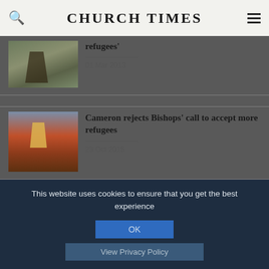CHURCH TIMES
[Figure (photo): Outdoor scene with tent/pole structures in green field]
refugees'
01 Mar 2013
[Figure (photo): Church building with orange/red walls and tower at dusk]
Cameron rejects Bishops' call to accept more refugees
23 Oct 2015
[Figure (photo): Partial third article thumbnail]
This website uses cookies to ensure that you get the best experience
OK
View Privacy Policy